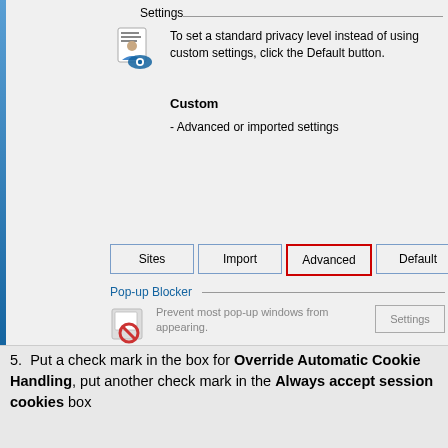[Figure (screenshot): Internet Explorer Privacy Settings panel showing custom privacy settings, four buttons (Sites, Import, Advanced highlighted in red, Default), and Pop-up Blocker section]
5. Put a check mark in the box for Override Automatic Cookie Handling, put another check mark in the Always accept session cookies box
[Figure (screenshot): Advanced Privacy Settings dialog box showing cookie handling options with title bar and close button]